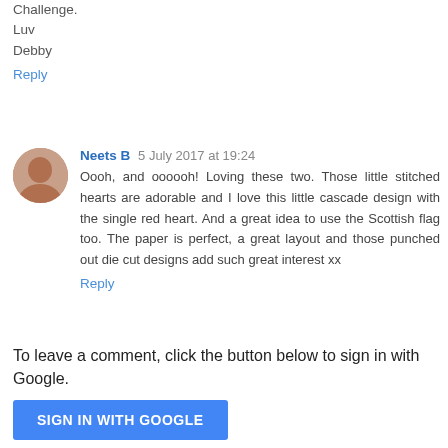Challenge.
Luv
Debby
Reply
Neets B  5 July 2017 at 19:24
Oooh, and oooooh! Loving these two. Those little stitched hearts are adorable and I love this little cascade design with the single red heart. And a great idea to use the Scottish flag too. The paper is perfect, a great layout and those punched out die cut designs add such great interest xx
Reply
To leave a comment, click the button below to sign in with Google.
SIGN IN WITH GOOGLE